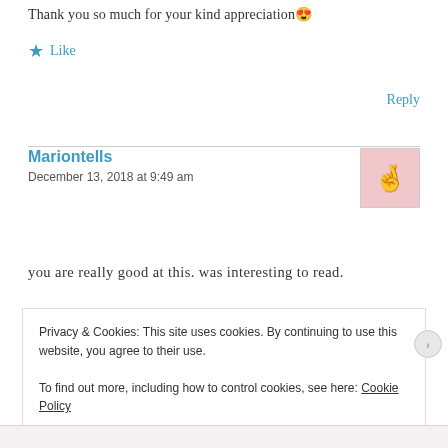Thank you so much for your kind appreciation 😍
★ Like
Reply
Mariontells
December 13, 2018 at 9:49 am
you are really good at this. was interesting to read.
Privacy & Cookies: This site uses cookies. By continuing to use this website, you agree to their use.
To find out more, including how to control cookies, see here: Cookie Policy
Close and accept